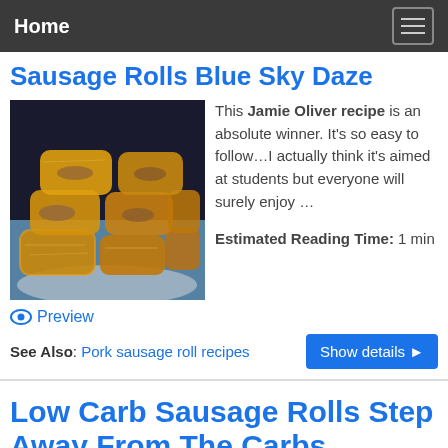Home
Sausage Rolls Blue Sky Daze
[Figure (photo): Photo of sausage rolls on a white plate, golden pastry, piled together]
This Jamie Oliver recipe is an absolute winner. It's so easy to follow…I actually think it's aimed at students but everyone will surely enjoy … Estimated Reading Time: 1 min
Preview
See Also: Pork sausage roll recipes
Low Carb Sausage Rolls Step Away From The Carbs